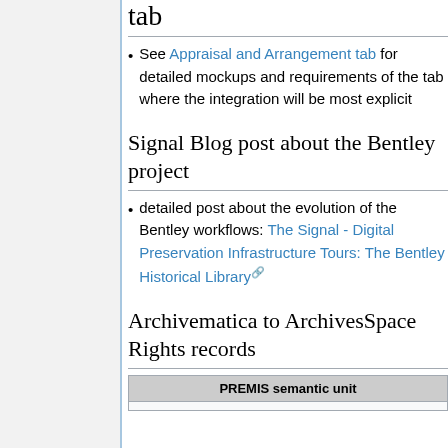tab
See Appraisal and Arrangement tab for detailed mockups and requirements of the tab where the integration will be most explicit
Signal Blog post about the Bentley project
detailed post about the evolution of the Bentley workflows: The Signal - Digital Preservation Infrastructure Tours: The Bentley Historical Library
Archivematica to ArchivesSpace Rights records
| PREMIS semantic unit |
| --- |